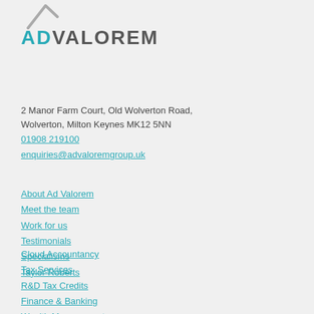[Figure (logo): Ad Valorem logo with grey arrow/chevron above and ADVALOREM text where AD is teal and VALOREM is dark grey]
2 Manor Farm Court, Old Wolverton Road,
Wolverton, Milton Keynes MK12 5NN
01908 219100
enquiries@advaloremgroup.uk
About Ad Valorem
Meet the team
Work for us
Testimonials
Specialisms
Taylor Roberts
Cloud Accountancy
Tax Services
R&D Tax Credits
Finance & Banking
Wealth Management